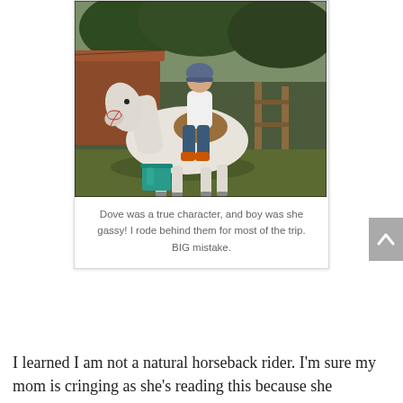[Figure (photo): A person wearing a helmet sitting on a white horse outdoors near a rustic barn/shed structure with trees in the background. A teal/green bucket sits on the ground near the horse's feet.]
Dove was a true character, and boy was she gassy! I rode behind them for most of the trip. BIG mistake.
I learned I am not a natural horseback rider. I'm sure my mom is cringing as she's reading this because she